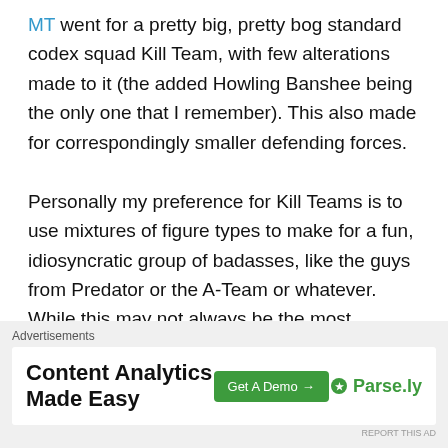MT went for a pretty big, pretty bog standard codex squad Kill Team, with few alterations made to it (the added Howling Banshee being the only one that I remember). This also made for correspondingly smaller defending forces.

Personally my preference for Kill Teams is to use mixtures of figure types to make for a fun, idiosyncratic group of badasses, like the guys from Predator or the A-Team or whatever.  While this may not always be the most effective way of ensuring a win, the team in itself will be a talking point and fun to use.  This meant that I thought that the Kill Team above was dull, even if it meant that it stood a better
Advertisements
[Figure (other): Advertisement banner: Content Analytics Made Easy - Get A Demo button - Parse.ly logo]